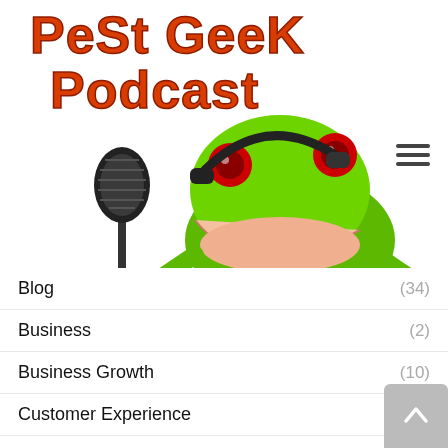[Figure (logo): Pest Geek Podcast logo with a green frog wearing headphones at a microphone, with orange/red text reading 'Pest Geek Podcast']
Blog (34)
Business (2)
Business Growth (10)
Customer Experience (1)
Design (4)
Design & Photography
Human Resources (9)